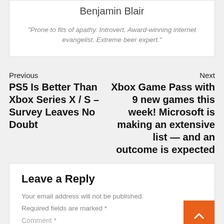Benjamin Blair
"Prone to fits of apathy. Introvert. Award-winning internet evangelist. Extreme beer expert."
Previous
PS5 Is Better Than Xbox Series X / S – Survey Leaves No Doubt
Next
Xbox Game Pass with 9 new games this week! Microsoft is making an extensive list — and an outcome is expected
Leave a Reply
Your email address will not be published. Required fields are marked *
Comment *